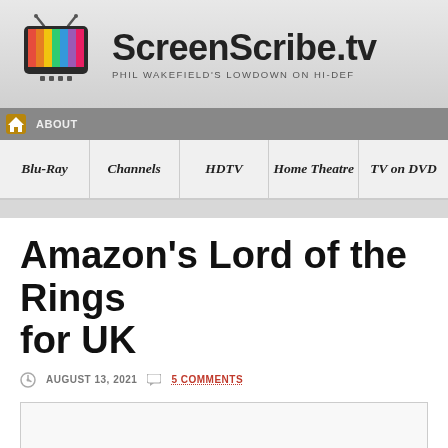[Figure (logo): ScreenScribe.tv website header with TV logo icon and site name]
ScreenScribe.tv — PHIL WAKEFIELD'S LOWDOWN ON HI-DEF
ABOUT
Blu-Ray | Channels | HDTV | Home Theatre | TV on DVD
Amazon's Lord of the Rings for UK
AUGUST 13, 2021   5 COMMENTS